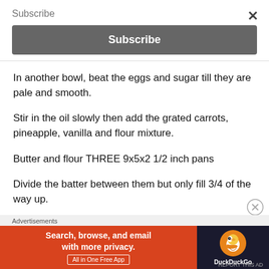Subscribe
Subscribe
In another bowl, beat the eggs and sugar till they are pale and smooth.
Stir in the oil slowly then add the grated carrots, pineapple, vanilla and flour mixture.
Butter and flour THREE 9x5x2 1/2 inch pans
Divide the batter between them but only fill 3/4 of the way up.
Advertisements
[Figure (screenshot): DuckDuckGo advertisement banner: orange left section with text 'Search, browse, and email with more privacy. All in One Free App', dark right section with DuckDuckGo duck logo and brand name.]